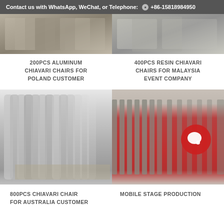Contact us with WhatsApp, WeChat, or Telephone: +86-15818984950
[Figure (photo): Photo of aluminum Chiavari chairs stacked in a warehouse or workshop, top-left]
[Figure (photo): Photo of resin Chiavari chairs or equipment, top-right]
200PCS ALUMINUM CHIAVARI CHAIRS FOR POLAND CUSTOMER
400PCS RESIN CHIAVARI CHAIRS FOR MALAYSIA EVENT COMPANY
[Figure (photo): Photo of 800pcs Chiavari chairs stacked in rows in a large warehouse]
[Figure (photo): Photo of mobile stage production with red panels in metal trolley frames]
800PCS CHIAVARI CHAIR FOR AUSTRALIA CUSTOMER
MOBILE STAGE PRODUCTION